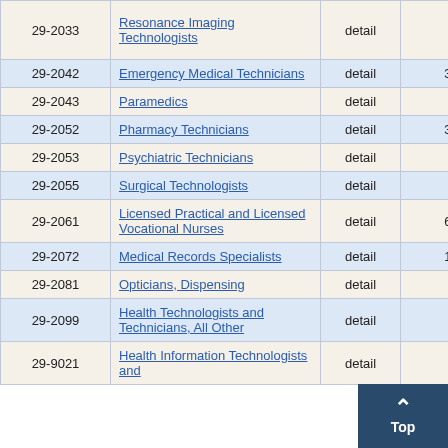| Code | Occupation | Type | Employment |  |
| --- | --- | --- | --- | --- |
| 29-2033 | Magnetic Resonance Imaging Technologists | detail | 40 |  |
| 29-2042 | Emergency Medical Technicians | detail | 320 | 13 |
| 29-2043 | Paramedics | detail | 80 | 16 |
| 29-2052 | Pharmacy Technicians | detail | 340 | 3 |
| 29-2053 | Psychiatric Technicians | detail | 70 | 20 |
| 29-2055 | Surgical Technologists | detail | 50 | 5 |
| 29-2061 | Licensed Practical and Licensed Vocational Nurses | detail | 600 | 4 |
| 29-2072 | Medical Records Specialists | detail | 130 | 5 |
| 29-2081 | Opticians, Dispensing | detail | 60 | 10 |
| 29-2099 | Health Technologists and Technicians, All Other | detail | 80 | 5 |
| 29-9021 | Health Information Technologists and | detail | 30 |  |